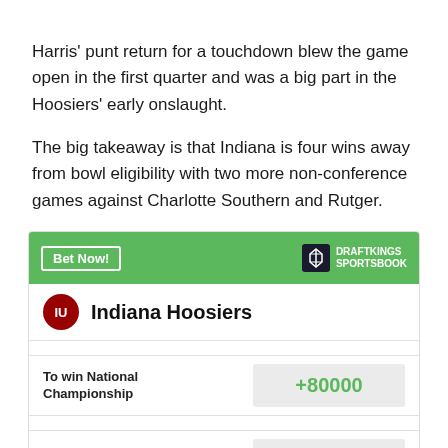Harris' punt return for a touchdown blew the game open in the first quarter and was a big part in the Hoosiers' early onslaught.
The big takeaway is that Indiana is four wins away from bowl eligibility with two more non-conference games against Charlotte Southern and Rutger.
|  | Indiana Hoosiers |  |
| --- | --- | --- |
| To win National Championship | +80000 |
| To win Big Ten | +30000 |